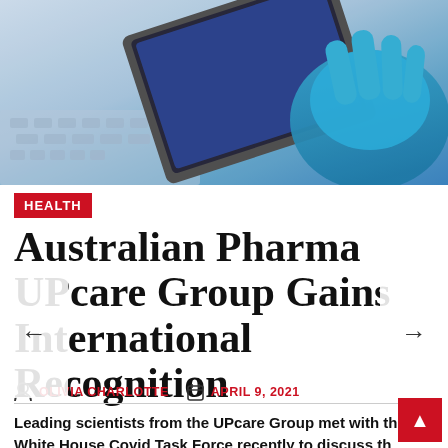[Figure (photo): Close-up photo of hands in blue medical gloves holding a tablet device, with a laptop keyboard visible in the background. Medical/clinical setting.]
HEALTH
Australian Pharma UPcare Group Gains International Recognition
OLIVIA CHARLOTTE   APRIL 9, 2021
Leading scientists from the UPcare Group met with the White House Covid Task Force recently to discuss the positive results in an Anti Sars-COV2 screening program conducted under contract by the Doherty Institute and other